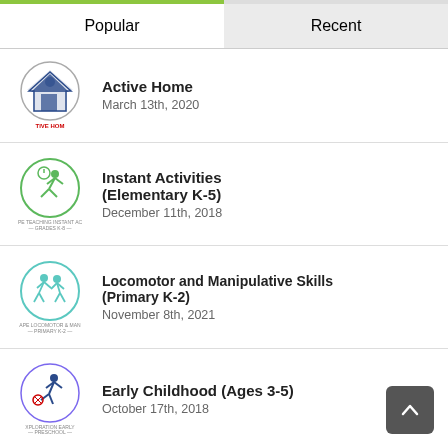Popular
Recent
Active Home
March 13th, 2020
Instant Activities (Elementary K-5)
December 11th, 2018
Locomotor and Manipulative Skills (Primary K-2)
November 8th, 2021
Early Childhood (Ages 3-5)
October 17th, 2018